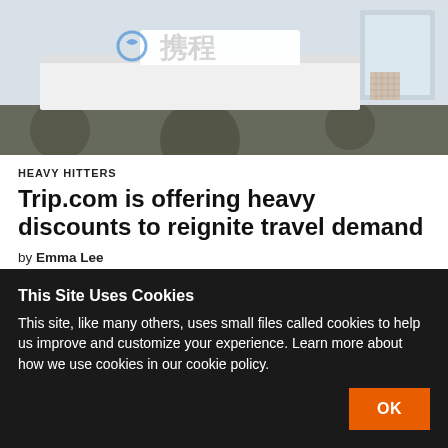[Figure (photo): Photo of a Trip.com (携程) reception desk with white logo sculpture and decorative elements on a patterned floor]
HEAVY HITTERS
Trip.com is offering heavy discounts to reignite travel demand
by Emma Lee
Jun 23, 2020
Trip.com, one of China's biggest online travel agencies, introduced on Tuesday a range of
This Site Uses Cookies
This site, like many others, uses small files called cookies to help us improve and customize your experience. Learn more about how we use cookies in our cookie policy.